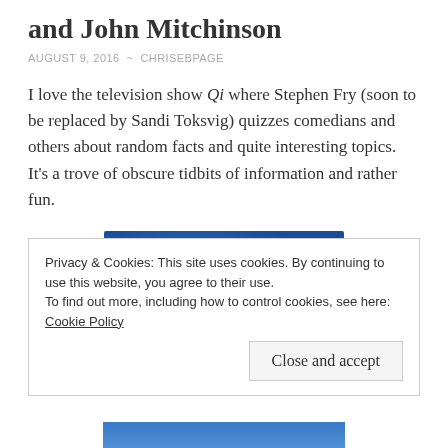and John Mitchinson
AUGUST 9, 2016 ~ CHRISEBPAGE
I love the television show Qi where Stephen Fry (soon to be replaced by Sandi Toksvig) quizzes comedians and others about random facts and quite interesting topics. It's a trove of obscure tidbits of information and rather fun.
[Figure (photo): Book cover image with blue background and a circular 'i' (information) logo, appearing to be the QI book cover. A Faber and Faber logo visible in top right corner.]
Privacy & Cookies: This site uses cookies. By continuing to use this website, you agree to their use.
To find out more, including how to control cookies, see here: Cookie Policy
Close and accept